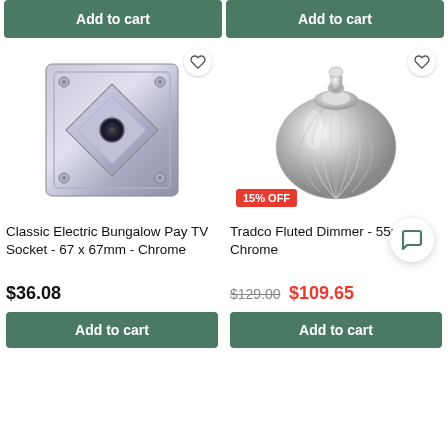Add to cart
Add to cart
[Figure (photo): Classic Electric Bungalow Pay TV Socket - chrome square wall plate with diamond-shaped center and coaxial connector]
[Figure (photo): Tradco Fluted Dimmer 55mm Chrome - rounded ribbed chrome dimmer switch knob, 15% OFF badge]
Classic Electric Bungalow Pay TV Socket - 67 x 67mm - Chrome
Tradco Fluted Dimmer - 55mm - Chrome
$36.08
$129.00  $109.65
Add to cart
Add to cart